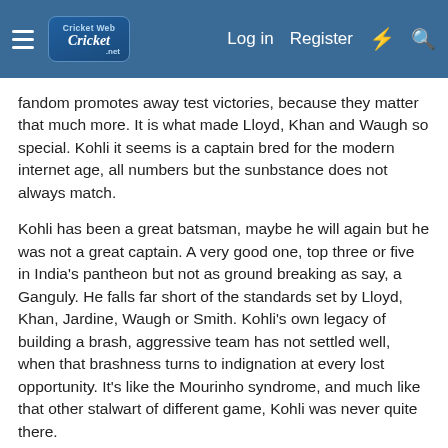CricketWeb Log in Register
fandom promotes away test victories, because they matter that much more. It is what made Lloyd, Khan and Waugh so special. Kohli it seems is a captain bred for the modern internet age, all numbers but the sunbstance does not always match.

Kohli has been a great batsman, maybe he will again but he was not a great captain. A very good one, top three or five in India's pantheon but not as ground breaking as say, a Ganguly. He falls far short of the standards set by Lloyd, Khan, Jardine, Waugh or Smith. Kohli's own legacy of building a brash, aggressive team has not settled well, when that brashness turns to indignation at every lost opportunity. It's like the Mourinho syndrome, and much like that other stalwart of different game, Kohli was never quite there.
subshakErz and CricAddict
Xix2565
State Vice Captain